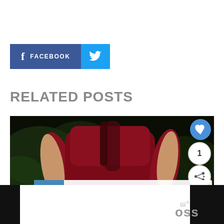[Figure (infographic): Social share buttons: Facebook button (dark blue with 'f' icon and 'FACEBOOK' text) and Twitter button (light blue with bird icon)]
RELATED POSTS
[Figure (photo): Person in a dark red/maroon athletic outfit, cycling or exercising outdoors against green background. Overlay includes: heart/like button circle (blue), count '1' circle (white), share button circle (white), and 'WHAT'S NEXT → Can Ketogenic diet prevent...' thumbnail bar at bottom.]
[Figure (screenshot): Bottom bar with black and white sections, partial 'loss' text and logo visible]